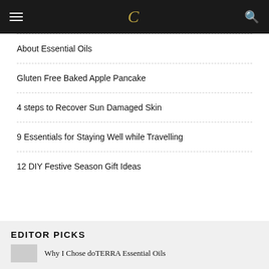C
About Essential Oils
Gluten Free Baked Apple Pancake
4 steps to Recover Sun Damaged Skin
9 Essentials for Staying Well while Travelling
12 DIY Festive Season Gift Ideas
EDITOR PICKS
Why I Chose doTERRA Essential Oils